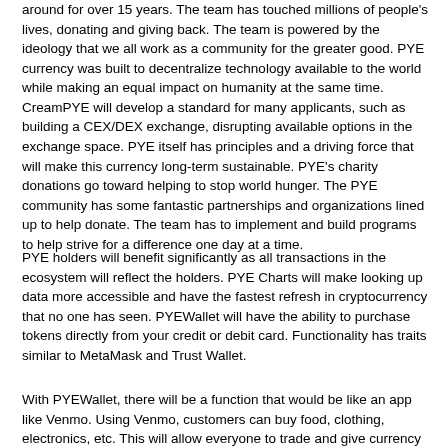around for over 15 years. The team has touched millions of people's lives, donating and giving back. The team is powered by the ideology that we all work as a community for the greater good. PYE currency was built to decentralize technology available to the world while making an equal impact on humanity at the same time. CreamPYE will develop a standard for many applicants, such as building a CEX/DEX exchange, disrupting available options in the exchange space. PYE itself has principles and a driving force that will make this currency long-term sustainable. PYE's charity donations go toward helping to stop world hunger. The PYE community has some fantastic partnerships and organizations lined up to help donate. The team has to implement and build programs to help strive for a difference one day at a time.
PYE holders will benefit significantly as all transactions in the ecosystem will reflect the holders. PYE Charts will make looking up data more accessible and have the fastest refresh in cryptocurrency that no one has seen. PYEWallet will have the ability to purchase tokens directly from your credit or debit card. Functionality has traits similar to MetaMask and Trust Wallet.
With PYEWallet, there will be a function that would be like an app like Venmo. Using Venmo, customers can buy food, clothing, electronics, etc. This will allow everyone to trade and give currency to other individuals